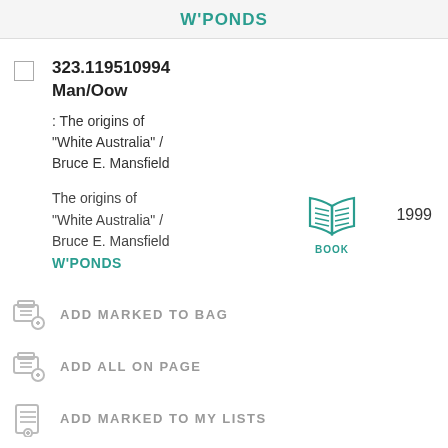W'PONDS
323.119510994
Man/Oow
: The origins of "White Australia" / Bruce E. Mansfield
The origins of "White Australia" / Bruce E. Mansfield
W'PONDS   1999
ADD MARKED TO BAG
ADD ALL ON PAGE
ADD MARKED TO MY LISTS